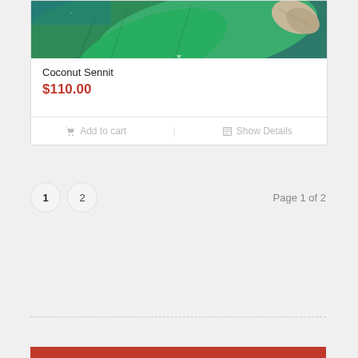[Figure (photo): Partial product photo showing green tropical leaves and coconut sennit rope material with teal/green background, cropped at top]
Coconut Sennit
$110.00
Add to cart
Show Details
1  2  Page 1 of 2